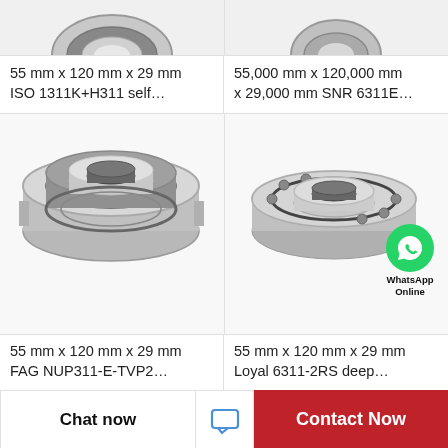[Figure (photo): Partial top view of a ball bearing, top-left product cell]
55 mm x 120 mm x 29 mm ISO 1311K+H311 self…
[Figure (photo): Partial top view of a ball bearing, top-right product cell]
55,000 mm x 120,000 mm x 29,000 mm SNR 6311E…
[Figure (photo): Full view of a shielded cylindrical roller bearing (FAG NUP311-E-TVP2), bottom-left product cell]
55 mm x 120 mm x 29 mm FAG NUP311-E-TVP2…
[Figure (photo): Full view of an angular contact ball bearing (Loyal 6311-2RS) with WhatsApp Online badge overlay, bottom-right product cell]
55 mm x 120 mm x 29 mm Loyal 6311-2RS deep…
Chat now
Contact Now